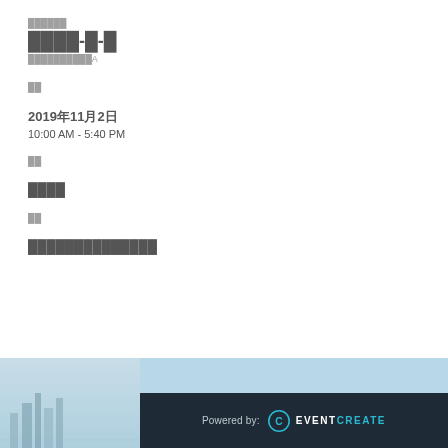██████
████-█-█
██████████A
██
2019年11月2日
10:00 AM - 5:40 PM
██
████
██
██████████████
Powered by: EVENTCREATE